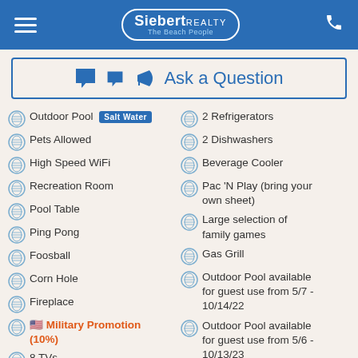Siebert Realty - The Beach People
Ask a Question
Outdoor Pool Salt Water
Pets Allowed
High Speed WiFi
Recreation Room
Pool Table
Ping Pong
Foosball
Corn Hole
Fireplace
Military Promotion (10%)
8 TVs
2 Flex-brew coffeemakers (bring
2 Refrigerators
2 Dishwashers
Beverage Cooler
Pac 'N Play (bring your own sheet)
Large selection of family games
Gas Grill
Outdoor Pool available for guest use from 5/7 - 10/14/22
Outdoor Pool available for guest use from 5/6 - 10/13/23